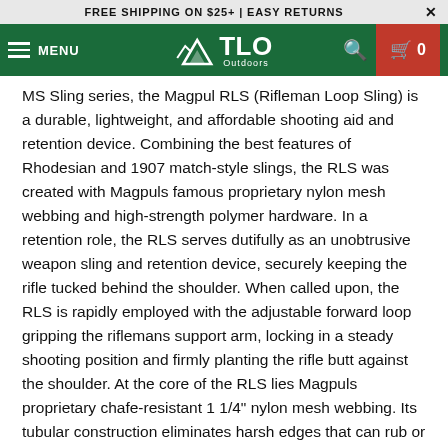FREE SHIPPING ON $25+ | EASY RETURNS
[Figure (logo): TLO Outdoors navigation bar with hamburger menu, TLO Outdoors logo centered, search icon, and cart icon showing 0 items]
MS Sling series, the Magpul RLS (Rifleman Loop Sling) is a durable, lightweight, and affordable shooting aid and retention device. Combining the best features of Rhodesian and 1907 match-style slings, the RLS was created with Magpuls famous proprietary nylon mesh webbing and high-strength polymer hardware. In a retention role, the RLS serves dutifully as an unobtrusive weapon sling and retention device, securely keeping the rifle tucked behind the shoulder. When called upon, the RLS is rapidly employed with the adjustable forward loop gripping the riflemans support arm, locking in a steady shooting position and firmly planting the rifle butt against the shoulder. At the core of the RLS lies Magpuls proprietary chafe-resistant 1 1/4" nylon mesh webbing. Its tubular construction eliminates harsh edges that can rub or snag and provides double layers of cushioned comfort against the end user while shouldered. During employment, the straps smooth texture remains comfortable, even when torqued against the user, and all Magpul slings use absorbid